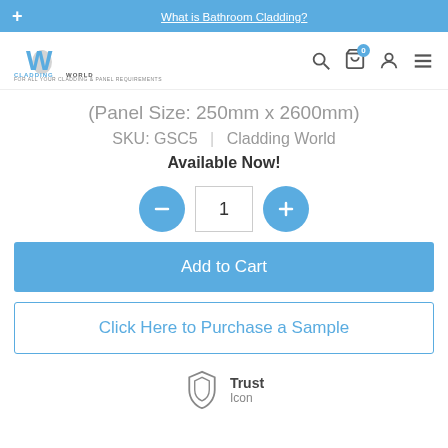+ What is Bathroom Cladding?
[Figure (logo): Cladding World logo with stylized W in blue and grey]
(Panel Size: 250mm x 2600mm)
SKU: GSC5 | Cladding World
Available Now!
[Figure (other): Quantity selector with minus button, quantity field showing 1, and plus button]
Add to Cart
Click Here to Purchase a Sample
[Figure (other): Trust icon - shield symbol with Trust Icon text]